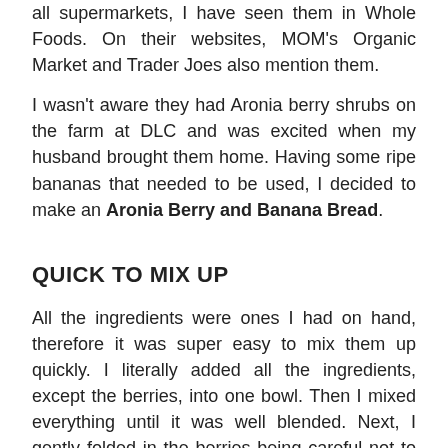all supermarkets, I have seen them in Whole Foods. On their websites, MOM's Organic Market and Trader Joes also mention them.
I wasn't aware they had Aronia berry shrubs on the farm at DLC and was excited when my husband brought them home. Having some ripe bananas that needed to be used, I decided to make an Aronia Berry and Banana Bread.
QUICK TO MIX UP
All the ingredients were ones I had on hand, therefore it was super easy to mix them up quickly. I literally added all the ingredients, except the berries, into one bowl. Then I mixed everything until it was well blended. Next, I gently folded in the berries being careful not to crush them.
I spooned the batter into the lightly greased